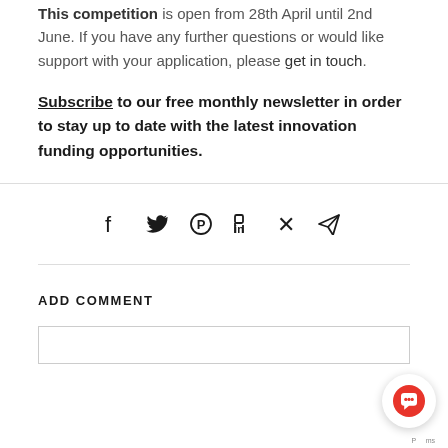This competition is open from 28th April until 2nd June. If you have any further questions or would like support with your application, please get in touch.
Subscribe to our free monthly newsletter in order to stay up to date with the latest innovation funding opportunities.
[Figure (infographic): Social share icons row: Facebook (f), Twitter (bird), Pinterest (P circle), LinkedIn (in), Xing (X), Telegram (paper plane arrow)]
ADD COMMENT